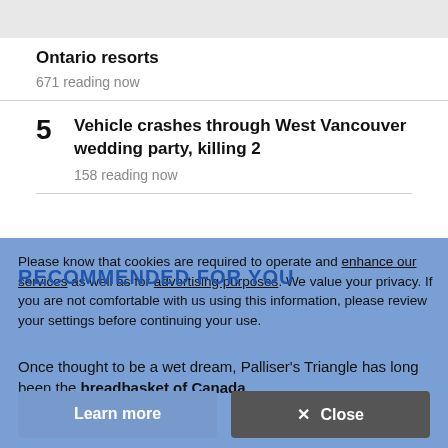Ontario resorts
671 reading now
5 Vehicle crashes through West Vancouver wedding party, killing 2
158 reading now
RECOMMENDED FOR YOU
Please know that cookies are required to operate and enhance our services as well as for advertising purposes. We value your privacy. If you are not comfortable with us using this information, please review your settings before continuing your use.
Once thought to be a wet dream, Palliser's Triangle has long been the breadbasket of Canada
Christy Climenhaga
News - Canada - Edmonton